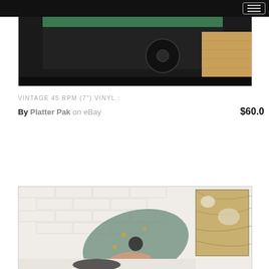[Figure (photo): Photo of a green-topped turntable or audio equipment on a wooden surface, dark background]
VINTAGE 45 RPM (7") VINYL :
By Platter Pak on eBay $60.0
[Figure (photo): Photo of a person holding a vinyl record in front of a white brick wall, with album artwork visible on the right]